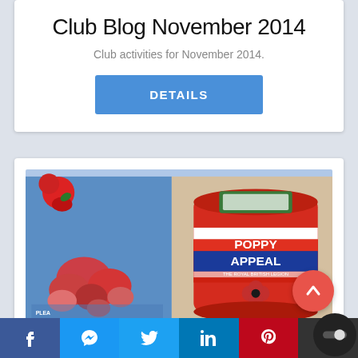Club Blog November 2014
Club activities for November 2014.
DETAILS
[Figure (photo): A Royal British Legion Poppy Appeal collection tin (red) with a blue label reading POPPY APPEAL THE ROYAL BRITISH LEGION, with a poppy symbol, next to a box of poppies with text PLEASE TAKE POPPY APPEAL]
Facebook | Messenger | Twitter | LinkedIn | Pinterest | More